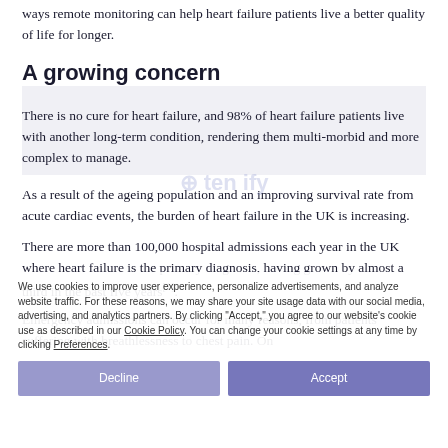ways remote monitoring can help heart failure patients live a better quality of life for longer.
A growing concern
There is no cure for heart failure, and 98% of heart failure patients live with another long-term condition, rendering them multi-morbid and more complex to manage.
As a result of the ageing population and an improving survival rate from acute cardiac events, the burden of heart failure in the UK is increasing.
There are more than 100,000 hospital admissions each year in the UK where heart failure is the primary diagnosis, having grown by almost a third in the past five years[1].
Emergency admissions can occur for many reasons, from patients suffering with breathlessness to chest pain. On